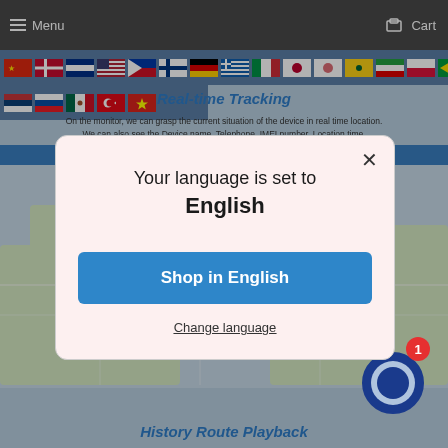Menu   Cart
[Figure (screenshot): Row of country flags for language selection]
Real-time Tracking
On the monitor, we can grasp the current situation of the device in real time location. We can also see the Device name, Telephone, IMEI number, Location time.
[Figure (screenshot): Language selection modal dialog on a website. Text reads: Your language is set to English. Button: Shop in English. Link: Change language.]
History Route Playback